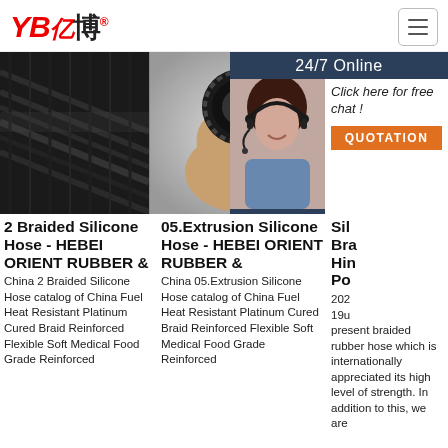YB亿博® [logo] [hamburger menu]
[Figure (photo): Three product images side by side: black braided rubber hose close-up, hand holding a rubber hose end, dark industrial hose. Right side has a 24/7 customer service overlay panel with agent photo, 'Click here for free chat!' text, and QUOTATION button.]
2 Braided Silicone Hose - HEBEI ORIENT RUBBER &
China 2 Braided Silicone Hose catalog of China Fuel Heat Resistant Platinum Cured Braid Reinforced Flexible Soft Medical Food Grade Reinforced
05.Extrusion Silicone Hose - HEBEI ORIENT RUBBER &
China 05.Extrusion Silicone Hose catalog of China Fuel Heat Resistant Platinum Cured Braid Reinforced Flexible Soft Medical Food Grade Reinforced
Sil Bra Hin Po
202 19u present braided rubber hose which is internationally appreciated its high level of strength. In addition to this, we are